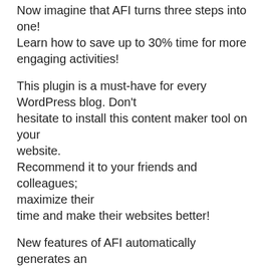Now imagine that AFI turns three steps into one! Learn how to save up to 30% time for more engaging activities!
This plugin is a must-have for every WordPress blog. Don't hesitate to install this content maker tool on your website. Recommend it to your friends and colleagues; maximize their time and make their websites better!
New features of AFI automatically generates an image for each post from the post title and sets it as the featured image. The image will then be included in your theme wherever the featured image for the post is called for. It's good to have an image in every post and page that you create. It helps for things like search engine optimization, social sharing, and just the